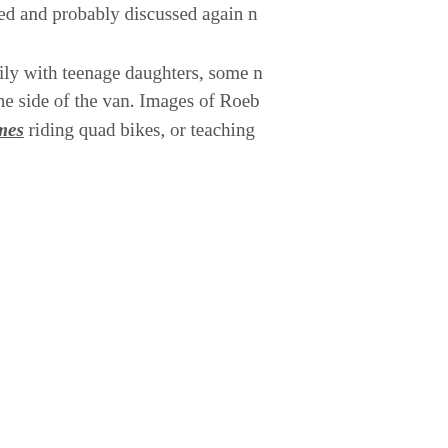watched and probably discussed again n A family with teenage daughters, some n onto the side of the van. Images of Roeb costumes riding quad bikes, or teaching River: